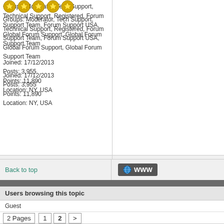[Figure (illustration): Row of five gold star/badge icons]
Groups: Moderator, Tech Support, Technical Support, Registered, Forum Support Team, Forum Support USA, Global Forum Support, Global Forum Support Team

Joined: 17/12/2013
Posts: 3,955
Points: 11,890
Location: NY, USA
Back to top
[Figure (screenshot): WWW button with globe icon]
Users browsing this topic
Guest
2 Pages  1  2  >
ModelSpace » Motor Modeller - Misc Subjects » Motor, Loco & Transport - M... Bavarian S3/6 by OcCre/Eaglemoss (32/140)